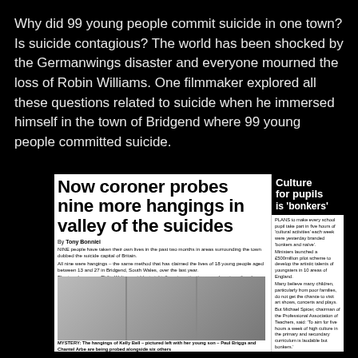Why did 99 young people commit suicide in one town? Is suicide contagious? The world has been shocked by the Germanwings disaster and everyone mourned the loss of Robin Williams. One filmmaker explored all these questions related to suicide when he immersed himself in the town of Bridgend where 99 young people committed suicide.
[Figure (photo): Newspaper clipping with headline 'Now coroner probes nine more hangings in valley of the suicides', byline by Tony Bonniei, article body text, three black and white portrait photographs of young people, a networking section, and a right sidebar with 'Culture for pupils is bonkers' headline and 'Artist facing death charge' section.]